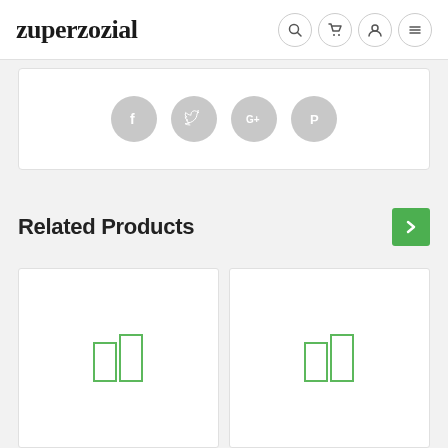zuperzozial
[Figure (screenshot): Social share buttons: Facebook, Twitter, Google+, Pinterest icons in gray circles]
Related Products
[Figure (illustration): Two product placeholder image cards with green column icons]
[Figure (illustration): Two product placeholder image cards with green column icons]